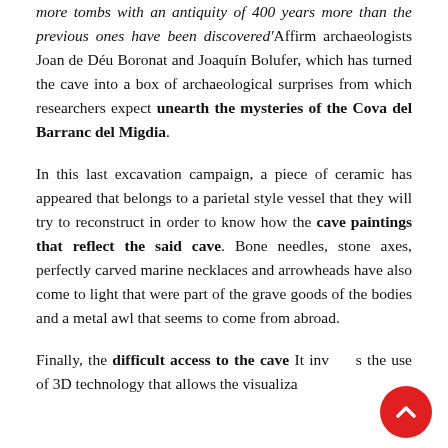more tombs with an antiquity of 400 years more than the previous ones have been discovered'Affirm archaeologists Joan de Déu Boronat and Joaquín Bolufer, which has turned the cave into a box of archaeological surprises from which researchers expect unearth the mysteries of the Cova del Barranc del Migdia.
In this last excavation campaign, a piece of ceramic has appeared that belongs to a parietal style vessel that they will try to reconstruct in order to know how the cave paintings that reflect the said cave. Bone needles, stone axes, perfectly carved marine necklaces and arrowheads have also come to light that were part of the grave goods of the bodies and a metal awl that seems to come from abroad.
Finally, the difficult access to the cave It involves the use of 3D technology that allows the visualization...